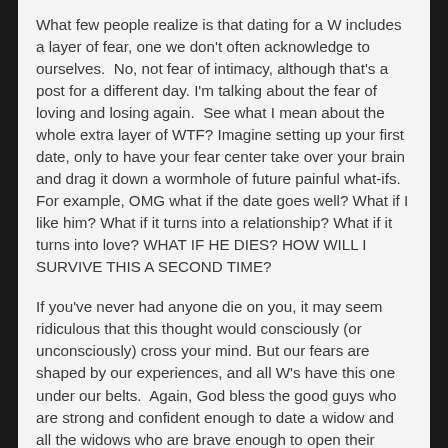What few people realize is that dating for a W includes a layer of fear, one we don't often acknowledge to ourselves.  No, not fear of intimacy, although that's a post for a different day. I'm talking about the fear of loving and losing again.  See what I mean about the whole extra layer of WTF? Imagine setting up your first date, only to have your fear center take over your brain and drag it down a wormhole of future painful what-ifs.  For example, OMG what if the date goes well? What if I like him? What if it turns into a relationship? What if it turns into love? WHAT IF HE DIES? HOW WILL I SURVIVE THIS A SECOND TIME?
If you've never had anyone die on you, it may seem ridiculous that this thought would consciously (or unconsciously) cross your mind. But our fears are shaped by our experiences, and all W's have this one under our belts.  Again, God bless the good guys who are strong and confident enough to date a widow and all the widows who are brave enough to open their